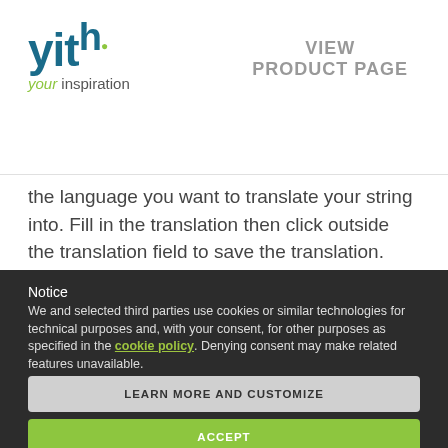[Figure (logo): YITH logo with tagline 'your inspiration']
VIEW
PRODUCT PAGE
the language you want to translate your string into. Fill in the translation then click outside the translation field to save the translation.
Notice
We and selected third parties use cookies or similar technologies for technical purposes and, with your consent, for other purposes as specified in the cookie policy. Denying consent may make related features unavailable.
You can consent to the use of such technologies by using the "Accept" button, by closing this notice, by scrolling this page, by interacting with any link or button outside of this notice or by continuing to browse otherwise.
LEARN MORE AND CUSTOMIZE
ACCEPT